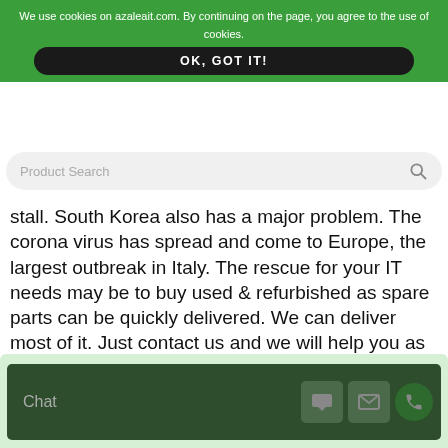We use cookies on azaleait.com. By continuing on the page, you agree to the use of cookies. OK, GOT IT!
[Figure (screenshot): Product search bar with magnifying glass icon on gray rounded background]
stall. South Korea also has a major problem. The corona virus has spread and come to Europe, the largest outbreak in Italy. The rescue for your IT needs may be to buy used & refurbished as spare parts can be quickly delivered. We can deliver most of it. Just contact us and we will help you as best as we can!
READ MORE
[Figure (screenshot): Chat widget bar with dark green background, Chat label, and icons for chat, email, and phone]